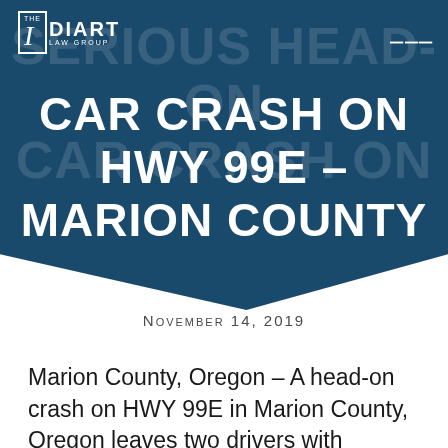THE IDIART LAW GROUP
SERIOUS HEAD-ON CAR CRASH ON HWY 99E – MARION COUNTY
November 14, 2019
Marion County, Oregon – A head-on crash on HWY 99E in Marion County, Oregon leaves two drivers with serious